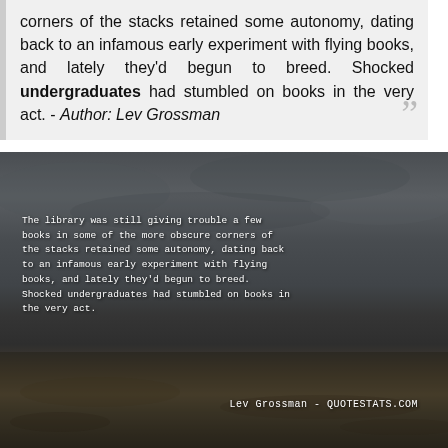corners of the stacks retained some autonomy, dating back to an infamous early experiment with flying books, and lately they'd begun to breed. Shocked undergraduates had stumbled on books in the very act. - Author: Lev Grossman
[Figure (photo): Dark moody landscape photo with overcast sky and field/grassland in foreground, overlaid with the same Lev Grossman quote text in white monospace font, attributed to 'Lev Grossman - QUOTESTATS.COM']